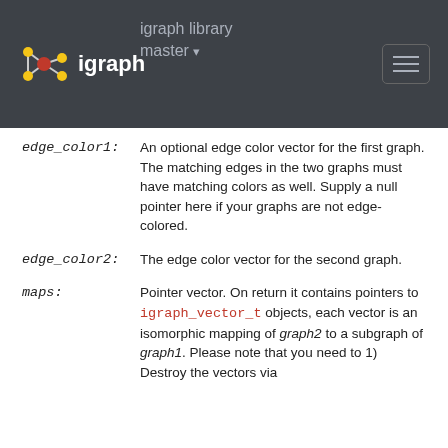igraph library master — igraph
edge_color1: An optional edge color vector for the first graph. The matching edges in the two graphs must have matching colors as well. Supply a null pointer here if your graphs are not edge-colored.
edge_color2: The edge color vector for the second graph.
maps: Pointer vector. On return it contains pointers to igraph_vector_t objects, each vector is an isomorphic mapping of graph2 to a subgraph of graph1. Please note that you need to 1) Destroy the vectors via